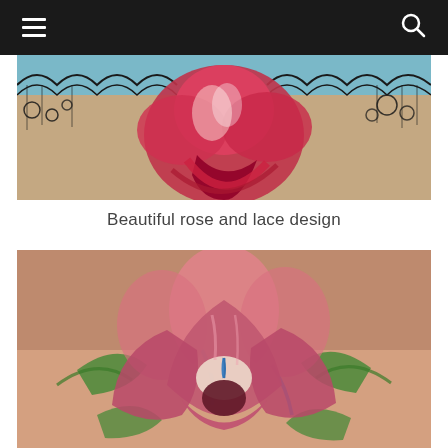Navigation bar with hamburger menu and search icon
[Figure (photo): Tattoo of a red rose with black lace design on skin, shown as a partial/cropped image from the bottom portion]
Beautiful rose and lace design
[Figure (photo): Tattoo of a pink and dark red lotus flower with blue accent strokes and green leaves on skin]